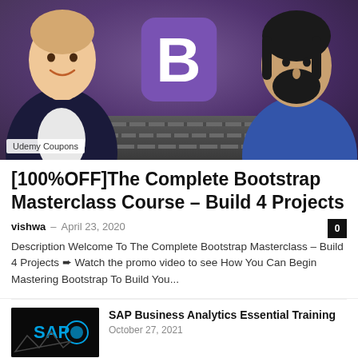[Figure (photo): Course thumbnail showing two instructors flanking a Bootstrap B logo on a dark purple background with laptop keyboard visible. A badge reads 'Udemy Coupons' at bottom left.]
[100%OFF]The Complete Bootstrap Masterclass Course – Build 4 Projects
vishwa  –  April 23, 2020
Description Welcome To The Complete Bootstrap Masterclass – Build 4 Projects ➨ Watch the promo video to see How You Can Begin Mastering Bootstrap To Build You...
[Figure (photo): SAP Business Analytics course thumbnail with SAP logo on dark background]
SAP Business Analytics Essential Training
October 27, 2021